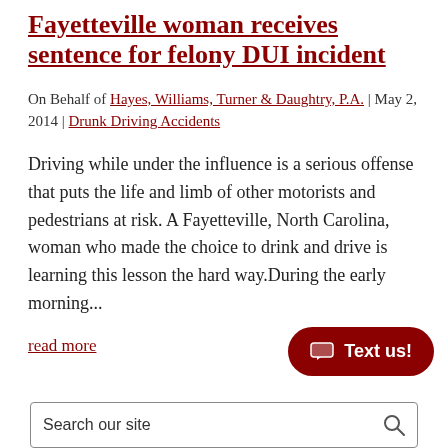Fayetteville woman receives sentence for felony DUI incident
On Behalf of Hayes, Williams, Turner & Daughtry, P.A. | May 2, 2014 | Drunk Driving Accidents
Driving while under the influence is a serious offense that puts the life and limb of other motorists and pedestrians at risk. A Fayetteville, North Carolina, woman who made the choice to drink and drive is learning this lesson the hard way.During the early morning...
read more